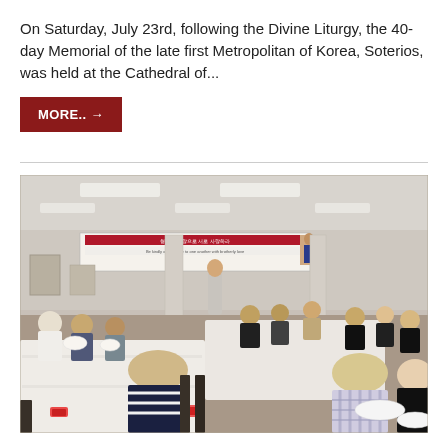On Saturday, July 23rd, following the Divine Liturgy, the 40-day Memorial of the late first Metropolitan of Korea, Soterios, was held at the Cathedral of...
MORE.. →
[Figure (photo): A large indoor dining hall filled with many people seated at long tables covered with white tablecloths, eating together. A banner with Korean and English text reading 'Be kindly affectionate to one another with brotherly love' is visible on the wall. Fluorescent lighting illuminates the ceiling. People of various ages are present.]